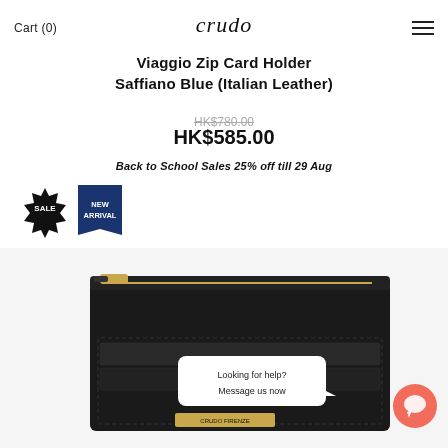Cart (0)   crudo   ☰
Viaggio Zip Card Holder Saffiano Blue (Italian Leather)
HK$780.00
HK$585.00
Back to School Sales 25% off till 29 Aug
[Figure (infographic): SALE badge (black starburst) and NEW ARRIVAL badge (dark blue ribbon)]
[Figure (photo): Black Saffiano leather zip card holder with gold zipper, photographed from above on white background. Chat bubble overlay: 'Looking for help? Message us now' with orange chat icon button.]